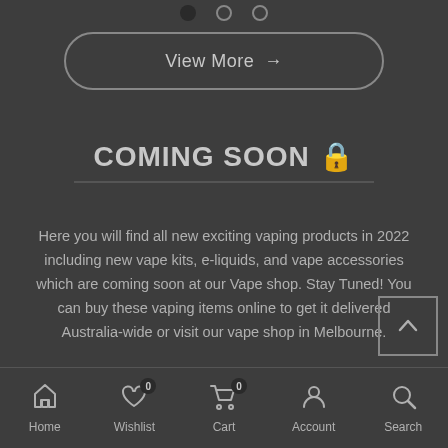[Figure (screenshot): Pagination dots: one filled dark circle and two outlined circles]
[Figure (screenshot): View More button with right arrow, rounded pill shape border]
COMING SOON 🔒
Here you will find all new exciting vaping products in 2022 including new vape kits, e-liquids, and vape accessories which are coming soon at our Vape shop. Stay Tuned! You can buy these vaping items online to get it delivered Australia-wide or visit our vape shop in Melbourne.
[Figure (screenshot): Scroll-to-top button with upward chevron arrow]
Home  Wishlist 0  Cart 0  Account  Search